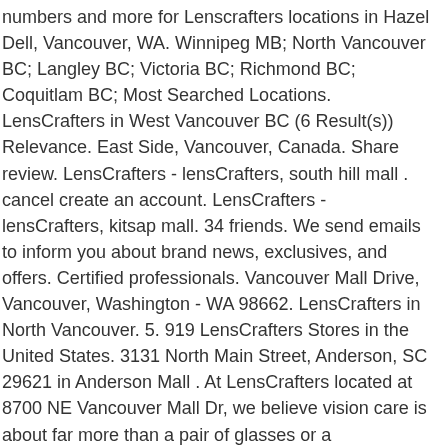numbers and more for Lenscrafters locations in Hazel Dell, Vancouver, WA. Winnipeg MB; North Vancouver BC; Langley BC; Victoria BC; Richmond BC; Coquitlam BC; Most Searched Locations. LensCrafters in West Vancouver BC (6 Result(s)) Relevance. East Side, Vancouver, Canada. Share review. LensCrafters - lensCrafters, south hill mall . cancel create an account. LensCrafters - lensCrafters, kitsap mall. 34 friends. We send emails to inform you about brand news, exclusives, and offers. Certified professionals. Vancouver Mall Drive, Vancouver, Washington - WA 98662. LensCrafters in North Vancouver. 5. 919 LensCrafters Stores in the United States. 3131 North Main Street, Anderson, SC 29621 in Anderson Mall . At LensCrafters located at 8700 NE Vancouver Mall Dr, we believe vision care is about far more than a pair of glasses or a prescription. 650 41st Ave ... This is a busy LensCrafters location, be prepared to wait. Price. Store. 2 LensCrafters reviews in Vancouver, BC. Lenscrafters. LensCrafters has 3 more store locations within 50 miles, besides the location at Westfield Vancouver. You, to guarantee you have the clearest